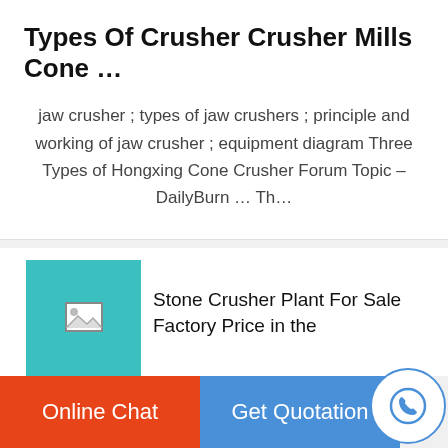Types Of Crusher Crusher Mills Cone …
jaw crusher ; types of jaw crushers ; principle and working of jaw crusher ; equipment diagram Three Types of Hongxing Cone Crusher Forum Topic – DailyBurn … Th…
Stone Crusher Plant For Sale Factory Price in the
[Figure (screenshot): Upload/share button icon with upward arrow inside a teal-bordered rounded square]
Online Chat   Get Quotation